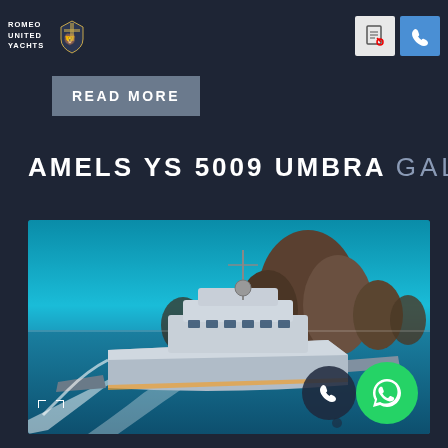ROMEO UNITED YACHTS
READ MORE
AMELS YS 5009 UMBRA GALLERY
[Figure (photo): Aerial photograph of the superyacht Umbra (AMELS YS 5009) cruising through turquoise waters with limestone karst islands in the background, creating a wake. Two smaller tender boats visible alongside.]